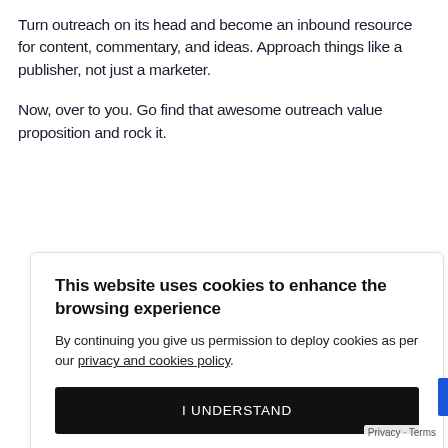Turn outreach on its head and become an inbound resource for content, commentary, and ideas. Approach things like a publisher, not just a marketer.
Now, over to you. Go find that awesome outreach value proposition and rock it.
This website uses cookies to enhance the browsing experience
By continuing you give us permission to deploy cookies as per our privacy and cookies policy.
I UNDERSTAND
Privacy · Terms